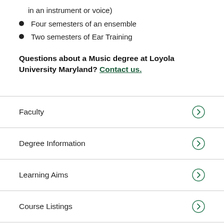in an instrument or voice)
Four semesters of an ensemble
Two semesters of Ear Training
Questions about a Music degree at Loyola University Maryland? Contact us.
Faculty
Degree Information
Learning Aims
Course Listings